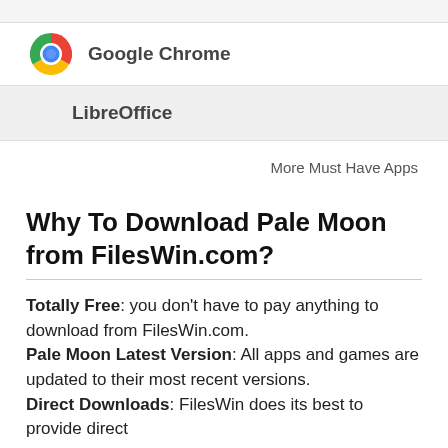[Figure (logo): Google Chrome logo (circular red/yellow/green/blue icon)]
Google Chrome
LibreOffice
More Must Have Apps
Why To Download Pale Moon from FilesWin.com?
Totally Free: you don't have to pay anything to download from FilesWin.com. Pale Moon Latest Version: All apps and games are updated to their most recent versions. Direct Downloads: FilesWin does its best to provide direct